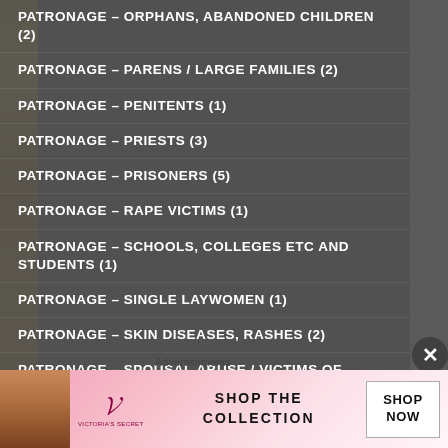PATRONAGE – ORPHANS, ABANDONED CHILDREN (2)
PATRONAGE – PARENS / LARGE FAMILIES (2)
PATRONAGE – PENITENTS (1)
PATRONAGE – PRIESTS (3)
PATRONAGE – PRISONERS (5)
PATRONAGE – RAPE VICTIMS (1)
PATRONAGE – SCHOOLS, COLLEGES etc AND STUDENTS (1)
PATRONAGE – SINGLE LAYWOMEN (1)
PATRONAGE – SKIN DISEASES, RASHES (2)
PATRONAGE – SPOUSAL ABUSE / VICTIMS OF ABUSE (2)
[Figure (advertisement): Victoria's Secret advertisement banner with model, VS logo, 'SHOP THE COLLECTION' text and 'SHOP NOW' button]
Advertisements